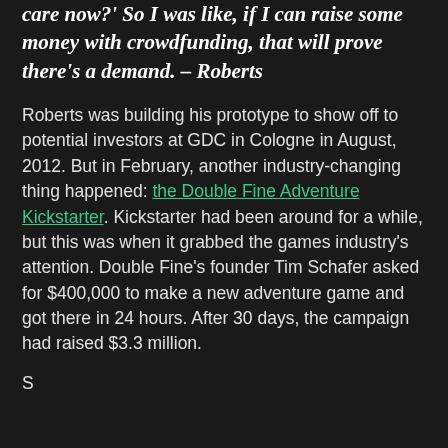care now?' So I was like, if I can raise some money with crowdfunding, that will prove there's a demand. – Roberts
Roberts was building his prototype to show off to potential investors at GDC in Cologne in August, 2012. But in February, another industry-changing thing happened: the Double Fine Adventure Kickstarter. Kickstarter had been around for a while, but this was when it grabbed the games industry's attention. Double Fine's founder Tim Schafer asked for $400,000 to make a new adventure game and got there in 24 hours. After 30 days, the campaign had raised $3.3 million.
S...